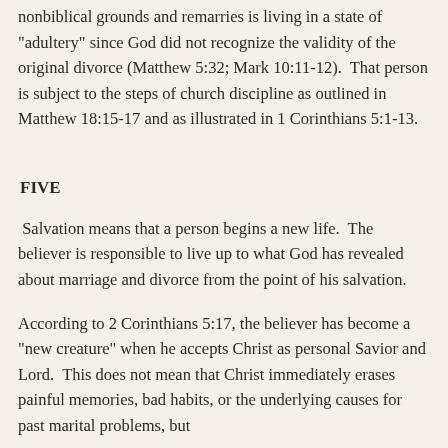nonbiblical grounds and remarries is living in a state of "adultery" since God did not recognize the validity of the original divorce (Matthew 5:32; Mark 10:11-12).  That person is subject to the steps of church discipline as outlined in Matthew 18:15-17 and as illustrated in 1 Corinthians 5:1-13.
FIVE
Salvation means that a person begins a new life.  The believer is responsible to live up to what God has revealed about marriage and divorce from the point of his salvation.
According to 2 Corinthians 5:17, the believer has become a "new creature" when he accepts Christ as personal Savior and Lord.  This does not mean that Christ immediately erases painful memories, bad habits, or the underlying causes for past marital problems, but